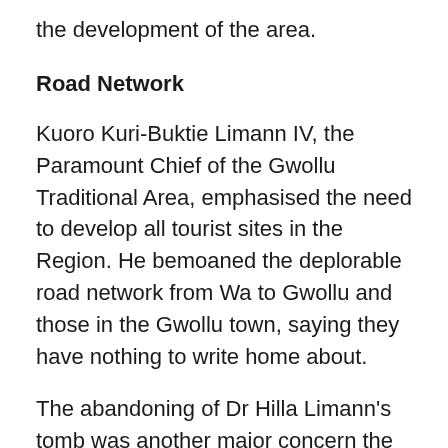the development of the area.
Road Network
Kuoro Kuri-Buktie Limann IV, the Paramount Chief of the Gwollu Traditional Area, emphasised the need to develop all tourist sites in the Region. He bemoaned the deplorable road network from Wa to Gwollu and those in the Gwollu town, saying they have nothing to write home about.
The abandoning of Dr Hilla Limann's tomb was another major concern the Chief expressed and appealed to the government to rehabiltate it and tar all roads leading to Gwollu to serve as an honour in memory of Dr Limann.